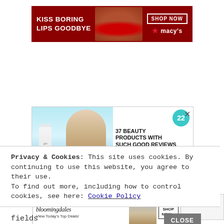[Figure (infographic): Macy's lipstick advertisement banner with dark red background showing a woman's face with red lips, text 'KISS BORING LIPS GOODBYE', 'SHOP NOW' button, and Macy's star logo]
[Figure (infographic): Beauty products advertisement with teal/light blue background, showing a skincare bottle labeled 'glo' and a woman model, with teal circle labeled '22', text '37 BEAUTY PRODUCTS WITH SUCH GOOD REVIEWS YOU MIGHT WANT TO', and an X close button]
Privacy & Cookies: This site uses cookies. By continuing to use this website, you agree to their use.
To find out more, including how to control cookies, see here: Cookie Policy
[Figure (infographic): Bloomingdale's advertisement with italic logo text 'bloomingdales', tagline 'View Today's Top Deals!', model wearing dark hat, and 'SHOP NOW >' button]
ept
fields